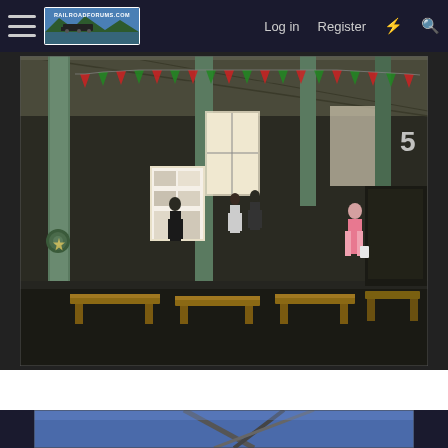RailroadForums.com | Log in | Register
[Figure (photo): Interior of a large industrial or workshop hall with concrete columns, Cuban flags bunting strung across the ceiling, bulletin boards and machinery, people standing and walking around, wooden benches/tables in the foreground, one woman in pink standing to the right.]
[Figure (photo): Partial view of a second photo showing what appears to be a blue sky with diagonal structural elements, partially cut off at the bottom of the page.]